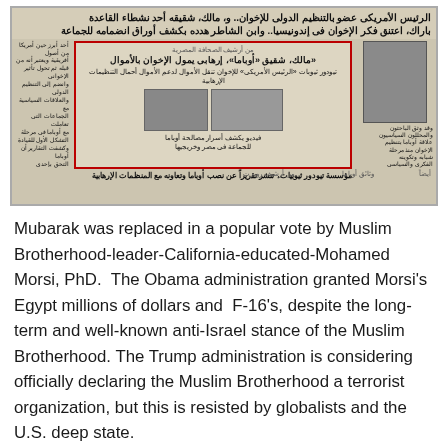[Figure (photo): Scanned Arabic newspaper page showing headlines about Obama, Muslim Brotherhood connections, and a photo of Obama. Inner box with red border contains Arabic sub-headlines and inset photographs. Bottom caption mentions Theodore Topics foundation and reports about Obama.]
Mubarak was replaced in a popular vote by Muslim Brotherhood-leader-California-educated-Mohamed Morsi, PhD. The Obama administration granted Morsi's Egypt millions of dollars and F-16's, despite the long-term and well-known anti-Israel stance of the Muslim Brotherhood. The Trump administration is considering officially declaring the Muslim Brotherhood a terrorist organization, but this is resisted by globalists and the U.S. deep state.
http://www.clip...